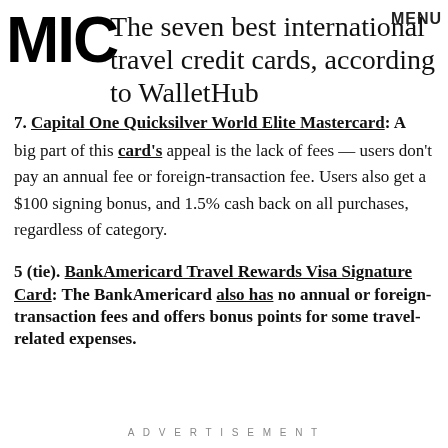MIC — The seven best international travel credit cards, according to WalletHub
7. Capital One Quicksilver World Elite Mastercard: A big part of this card's appeal is the lack of fees — users don't pay an annual fee or foreign-transaction fee. Users also get a $100 signing bonus, and 1.5% cash back on all purchases, regardless of category.
5 (tie). BankAmericard Travel Rewards Visa Signature Card: The BankAmericard also has no annual or foreign-transaction fees and offers bonus points for some travel-related expenses.
ADVERTISEMENT